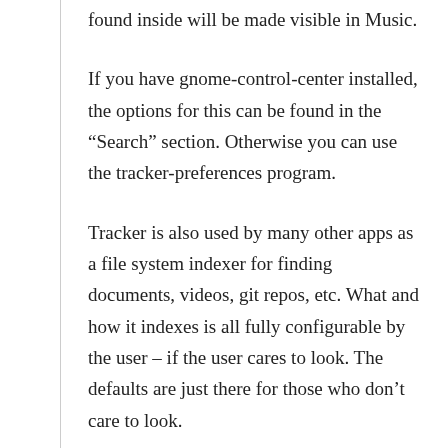found inside will be made visible in Music.
If you have gnome-control-center installed, the options for this can be found in the “Search” section. Otherwise you can use the tracker-preferences program.
Tracker is also used by many other apps as a file system indexer for finding documents, videos, git repos, etc. What and how it indexes is all fully configurable by the user – if the user cares to look. The defaults are just there for those who don’t care to look.